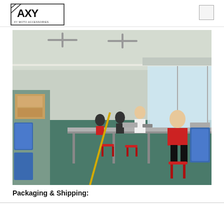XY MOTO ACCESSORIES logo header
[Figure (photo): Factory assembly line interior showing workers seated at long metal workbenches on red plastic stools, assembling parts. Blue plastic storage bins on right and left sides. Green floor with yellow safety line. Industrial ceiling with fans and windows along right wall.]
Packaging & Shipping: